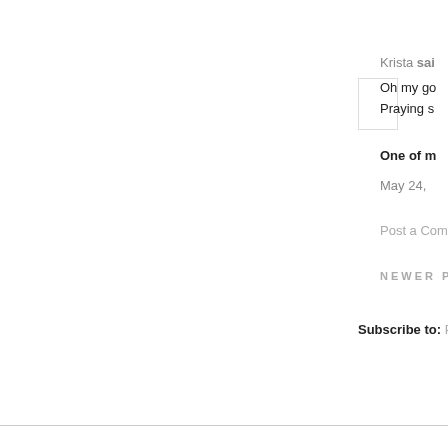Krista said
Oh my go
Praying s
One of m
May 24,
Post a Comm
NEWER PO
Subscribe to: Pos